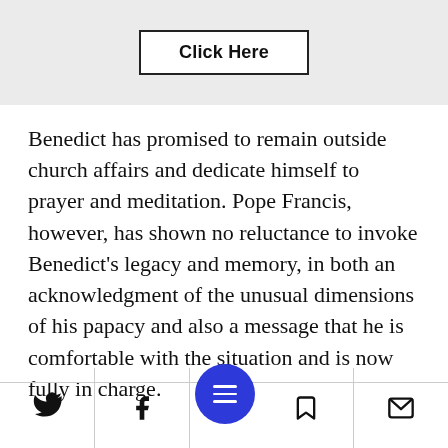[Figure (other): Gray banner with a 'Click Here' button in a rectangle border]
Benedict has promised to remain outside church affairs and dedicate himself to prayer and meditation. Pope Francis, however, has shown no reluctance to invoke Benedict's legacy and memory, in both an acknowledgment of the unusual dimensions of his papacy and also a message that he is comfortable with the situation and is now fully in charge.
[Figure (other): Bottom navigation bar with Twitter, Facebook, hamburger menu (blue circle), bookmark, and email icons]